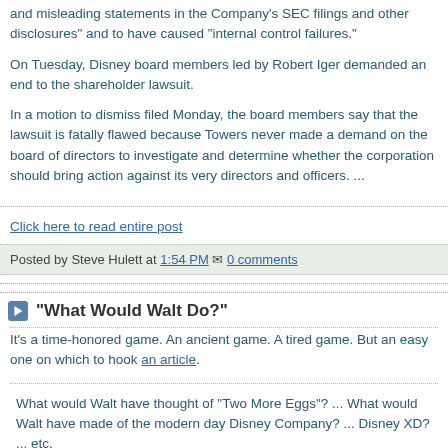and misleading statements in the Company's SEC filings and other disclosures" and to have caused "internal control failures."
On Tuesday, Disney board members led by Robert Iger demanded an end to the shareholder lawsuit.
In a motion to dismiss filed Monday, the board members say that the lawsuit is fatally flawed because Towers never made a demand on the board of directors to investigate and determine whether the corporation should bring action against its very directors and officers. ...
Click here to read entire post
Posted by Steve Hulett at 1:54 PM  0 comments
"What Would Walt Do?"
It's a time-honored game. An ancient game. A tired game. But an easy one on which to hook an article.
What would Walt have thought of "Two More Eggs"? ... What would Walt have made of the modern day Disney Company? ... Disney XD? ... etc.